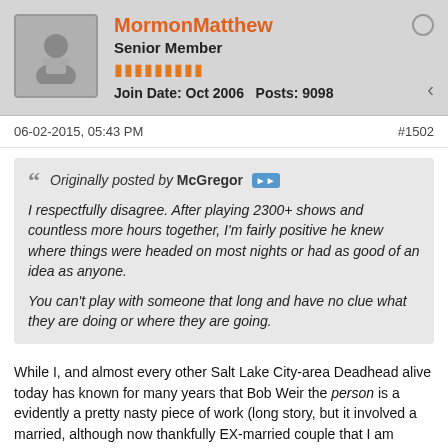MormonMatthew | Senior Member | Join Date: Oct 2006 | Posts: 9098
06-02-2015, 05:43 PM  #1502
Originally posted by McGregor

I respectfully disagree. After playing 2300+ shows and countless more hours together, I'm fairly positive he knew where things were headed on most nights or had as good of an idea as anyone.

You can't play with someone that long and have no clue what they are doing or where they are going.
While I, and almost every other Salt Lake City-area Deadhead alive today has known for many years that Bob Weir the person is a evidently a pretty nasty piece of work (long story, but it involved a married, although now thankfully EX-married couple that I am acquainted with) I think that Bob Weir the musician is a fine, if unspectacular rhythm guitarist, a natural, charismatic frontman and also an incredibly talented songwriter, and I firmly believe that the Grateful Dead would never have achieved the incredible level